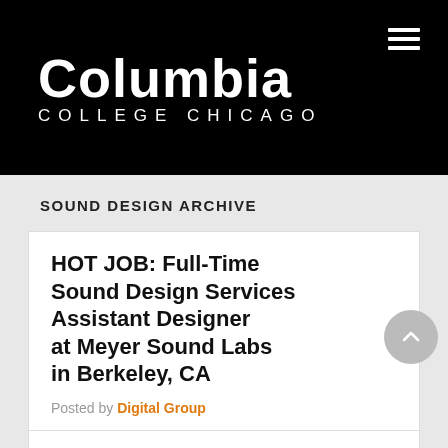Columbia College Chicago
SOUND DESIGN ARCHIVE
HOT JOB: Full-Time Sound Design Services Assistant Designer at Meyer Sound Labs in Berkeley, CA
Posted by Digital Group
12/7/15: Update from this employer that this position has been filled,